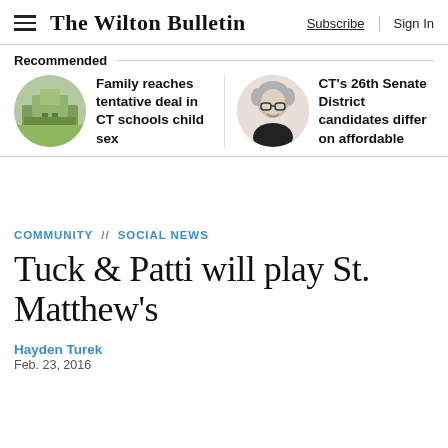The Wilton Bulletin  Subscribe  Sign In
Recommended
Family reaches tentative deal in CT schools child sex
CT's 26th Senate District candidates differ on affordable
COMMUNITY // SOCIAL NEWS
Tuck & Patti will play St. Matthew's
Hayden Turek
Feb. 23, 2016